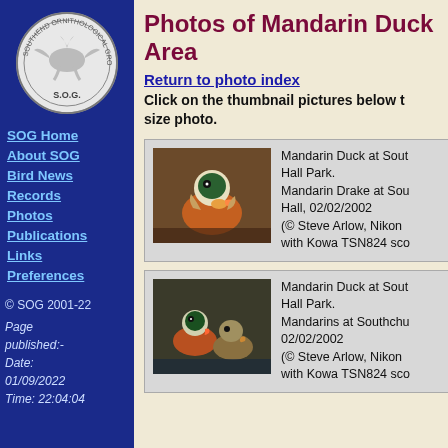[Figure (logo): Southend Ornithological Group circular logo with bird silhouette and text S.O.G.]
SOG Home
About SOG
Bird News
Records
Photos
Publications
Links
Preferences
© SOG 2001-22
Page published:- Date: 01/09/2022 Time: 22:04:04
Photos of Mandarin Duck Area
Return to photo index
Click on the thumbnail pictures below t size photo.
[Figure (photo): Mandarin Duck (drake) close-up photo showing colorful plumage, orange, green and white feathers with pink beak]
Mandarin Duck at Sout Hall Park.
Mandarin Drake at Sou Hall, 02/02/2002
(© Steve Arlow, Nikon with Kowa TSN824 sco
[Figure (photo): Mandarin Ducks pair photo, male and female at water]
Mandarin Duck at Sout Hall Park.
Mandarins at Southchu 02/02/2002
(© Steve Arlow, Nikon with Kowa TSN824 sco